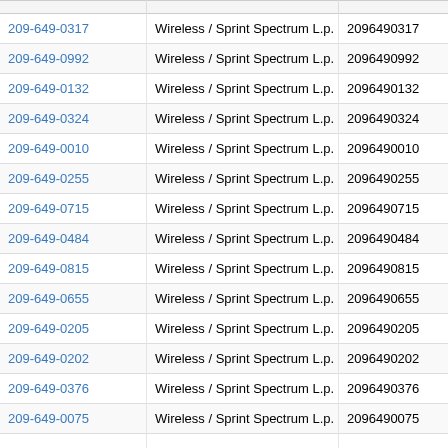| Phone Number | Carrier | Digits |  |
| --- | --- | --- | --- |
| 209-649-0317 | Wireless / Sprint Spectrum L.p. | 2096490317 | View |
| 209-649-0992 | Wireless / Sprint Spectrum L.p. | 2096490992 | View |
| 209-649-0132 | Wireless / Sprint Spectrum L.p. | 2096490132 | View |
| 209-649-0324 | Wireless / Sprint Spectrum L.p. | 2096490324 | View |
| 209-649-0010 | Wireless / Sprint Spectrum L.p. | 2096490010 | View |
| 209-649-0255 | Wireless / Sprint Spectrum L.p. | 2096490255 | View |
| 209-649-0715 | Wireless / Sprint Spectrum L.p. | 2096490715 | View |
| 209-649-0484 | Wireless / Sprint Spectrum L.p. | 2096490484 | View |
| 209-649-0815 | Wireless / Sprint Spectrum L.p. | 2096490815 | View |
| 209-649-0655 | Wireless / Sprint Spectrum L.p. | 2096490655 | View |
| 209-649-0205 | Wireless / Sprint Spectrum L.p. | 2096490205 | View |
| 209-649-0202 | Wireless / Sprint Spectrum L.p. | 2096490202 | View |
| 209-649-0376 | Wireless / Sprint Spectrum L.p. | 2096490376 | View |
| 209-649-0075 | Wireless / Sprint Spectrum L.p. | 2096490075 | View |
| 209-649-0357 | Wireless / Sprint Spectrum L.p. | 2096490357 | ▲ iew |
| 209-649-0004 | Wireless / Sprint Spectrum L.p. | 2096490004 | View |
| 209-649-0608 | Wireless / Sprint Spectrum L.p. | 2096490608 | View |
| 209-649-0260 | Wireless / Sprint Spectrum L.p. | 2096490260 | View |